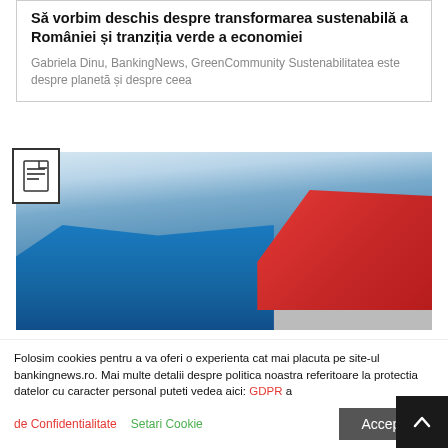Să vorbim deschis despre transformarea sustenabilă a României și tranziția verde a economiei
Gabriela Dinu, BankingNews, GreenCommunity Sustenabilitatea este despre planetă și despre ceea
[Figure (photo): Photo of BCR bank building signage with large blue letters 'BCR' and the Erste bank red logo (stylized S-figure) mounted on a glass building facade]
Folosim cookies pentru a va oferi o experienta cat mai placuta pe site-ul bankingnews.ro. Mai multe detalii despre politica noastra referitoare la protectia datelor cu caracter personal puteti vedea aici: GDPR a de Confidentialitate